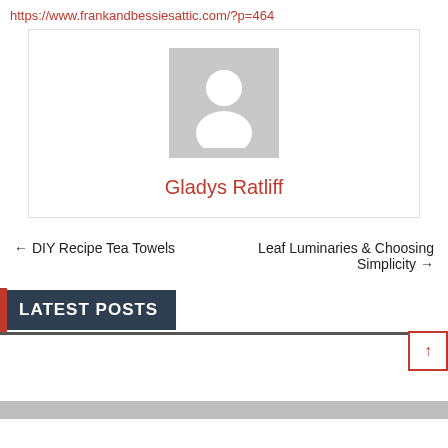https://www.frankandbessiesattic.com/?p=464
[Figure (illustration): Profile card with a gray placeholder avatar (silhouette of a person) and the author name Gladys Ratliff in red text below it, enclosed in a bordered box.]
Gladys Ratliff
← DIY Recipe Tea Towels
Leaf Luminaries & Choosing Simplicity →
LATEST POSTS